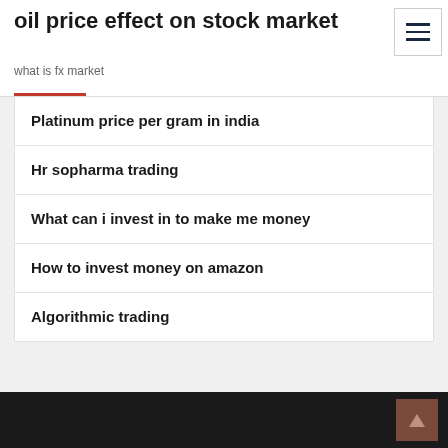oil price effect on stock market
what is fx market
Platinum price per gram in india
Hr sopharma trading
What can i invest in to make me money
How to invest money on amazon
Algorithmic trading